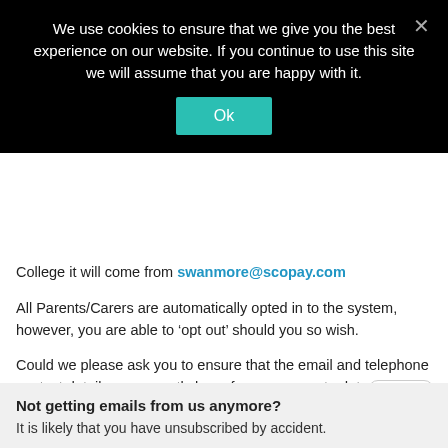[Figure (screenshot): Cookie consent banner overlay with black background. Text reads: 'We use cookies to ensure that we give you the best experience on our website. If you continue to use this site we will assume that you are happy with it.' With a teal 'Ok' button and an X close button.]
College it will come from swanmore@scopay.com
All Parents/Carers are automatically opted in to the system, however, you are able to ‘opt out’ should you so wish.
Could we please ask you to ensure that the email and telephone contact details we currently have for you are up to date.
Should you have any questions about the system, please contact us via enquiries@swanmore-sec.hants.sch.uk.
Not getting emails from us anymore?
It is likely that you have unsubscribed by accident.